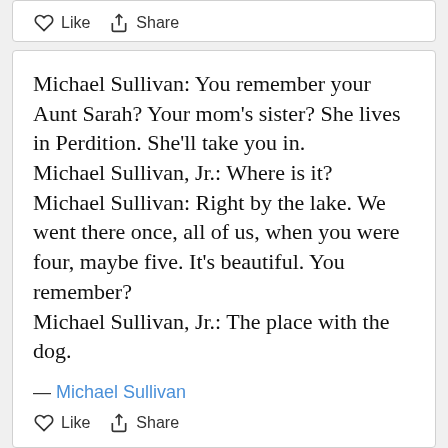Like  Share
Michael Sullivan: You remember your Aunt Sarah? Your mom's sister? She lives in Perdition. She'll take you in. Michael Sullivan, Jr.: Where is it? Michael Sullivan: Right by the lake. We went there once, all of us, when you were four, maybe five. It's beautiful. You remember? Michael Sullivan, Jr.: The place with the dog.
— Michael Sullivan
Like  Share
May you get to Heaven an hour before the Devil knows you're dead
John Rooney